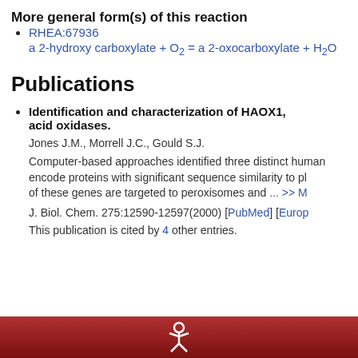More general form(s) of this reaction
RHEA:67936
a 2-hydroxy carboxylate + O2 = a 2-oxocarboxylate + H2O
Publications
Identification and characterization of HAOX1, HAOX2, and HAOX3, three human peroxisomal 2-hydroxy acid oxidases.
Jones J.M., Morrell J.C., Gould S.J.
Computer-based approaches identified three distinct human genes that encode proteins with significant sequence similarity to plant glycolate oxidase. All three of these genes are targeted to peroxisomes and ... >> More
J. Biol. Chem. 275:12590-12597(2000) [PubMed] [EuropePMC]
This publication is cited by 4 other entries.
[Figure (logo): Red footer bar with white ExPASy-style logo/icon in the center]